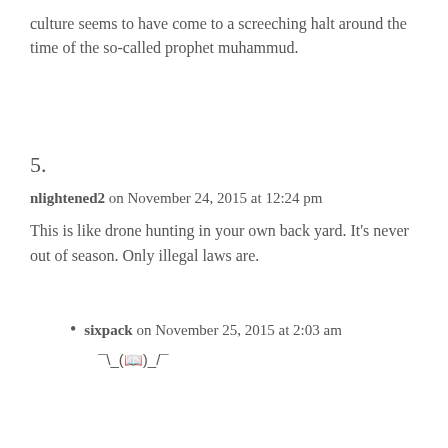culture seems to have come to a screeching halt around the time of the so-called prophet muhammud.
5.
nlightened2 on November 24, 2015 at 12:24 pm
This is like drone hunting in your own back yard. It’s never out of season. Only illegal laws are.
sixpack on November 25, 2015 at 2:03 am
¯\_([📖])_/¯